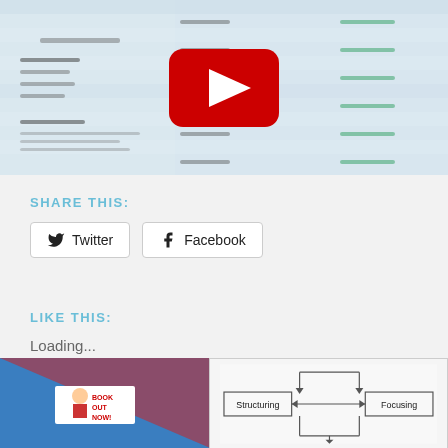[Figure (screenshot): Screenshot of a web interface or Google Ads keyword planner table with a YouTube video overlay in the center]
SHARE THIS:
Twitter  Facebook (share buttons)
LIKE THIS:
Loading...
[Figure (photo): Photo of a billboard or sign with a person and red/blue colors, with text BOOK OUT NOW]
[Figure (flowchart): Diagram showing Structuring and Focusing with arrows between them]